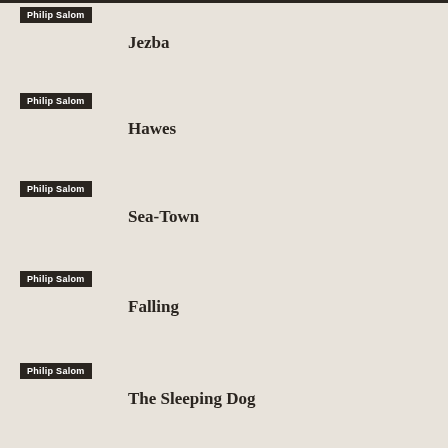Philip Salom
Jezba
Philip Salom
Hawes
Philip Salom
Sea-Town
Philip Salom
Falling
Philip Salom
The Sleeping Dog